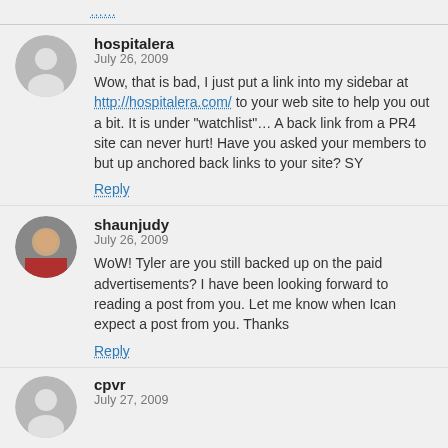…
hospitalera
July 26, 2009
Wow, that is bad, I just put a link into my sidebar at http://hospitalera.com/ to your web site to help you out a bit. It is under "watchlist"... A back link from a PR4 site can never hurt! Have you asked your members to but up anchored back links to your site? SY
Reply
shaunjudy
July 26, 2009
WoW! Tyler are you still backed up on the paid advertisements? I have been looking forward to reading a post from you. Let me know when Ican expect a post from you. Thanks
Reply
cpvr
July 27, 2009